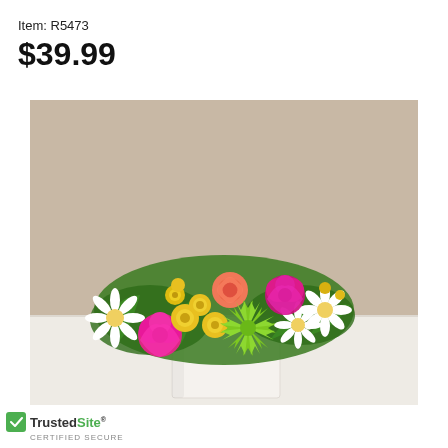Item: R5473
$39.99
[Figure (photo): A colorful flower arrangement in a white rectangular vase on a white table with a beige background. The arrangement includes pink carnations, white daisies, yellow button flowers, a coral/salmon rose, magenta carnations, green spider mums, and green foliage.]
TrustedSite® CERTIFIED SECURE